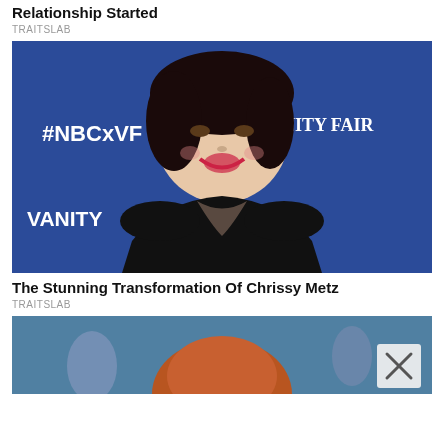Relationship Started
TRAITSLAB
[Figure (photo): Woman in black dress smiling at an NBC x Vanity Fair event, standing in front of a blue step-and-repeat banner with #NBCxVF and VANITY FAIR logos]
The Stunning Transformation Of Chrissy Metz
TRAITSLAB
[Figure (photo): Partial view of a person with red/auburn hair, partially covered by an X (close) button overlay]